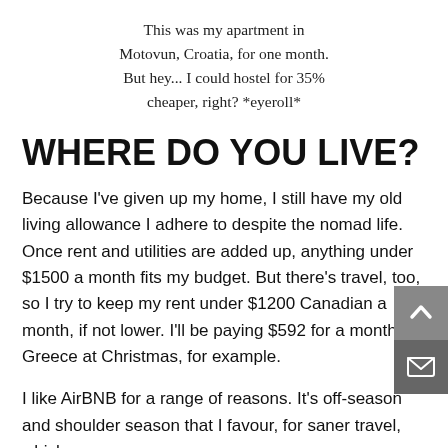This was my apartment in Motovun, Croatia, for one month. But hey... I could hostel for 35% cheaper, right? *eyeroll*
WHERE DO YOU LIVE?
Because I've given up my home, I still have my old living allowance I adhere to despite the nomad life. Once rent and utilities are added up, anything under $1500 a month fits my budget. But there's travel, too, so I try to keep my rent under $1200 Canadian a month, if not lower. I'll be paying $592 for a month in Greece at Christmas, for example.
I like AirBNB for a range of reasons. It's off-season and shoulder season that I favour, for saner travel, which